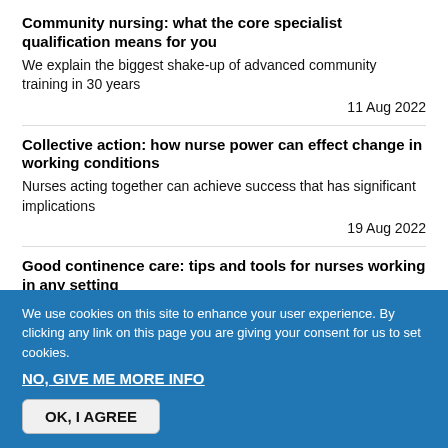Community nursing: what the core specialist qualification means for you
We explain the biggest shake-up of advanced community training in 30 years
11 Aug 2022
Collective action: how nurse power can effect change in working conditions
Nurses acting together can achieve success that has significant implications
19 Aug 2022
Good continence care: tips and tools for nurses working in any setting
We use cookies on this site to enhance your user experience. By clicking any link on this page you are giving your consent for us to set cookies.
NO, GIVE ME MORE INFO
OK, I AGREE